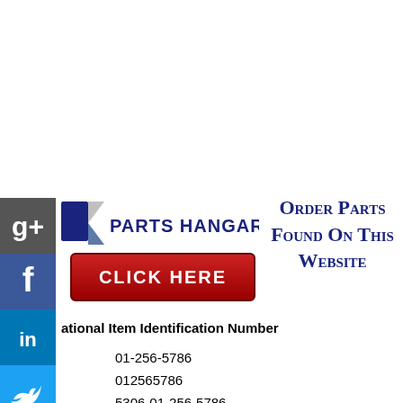[Figure (logo): Parts Hangar logo with flag icon and social media sidebar icons (Google+, Facebook, LinkedIn, Twitter, Google, StumbleUpon)]
[Figure (illustration): Red 'CLICK HERE' button]
Order Parts Found On This Website
ational Item Identification Number
01-256-5786
012565786
5306-01-256-5786
5306012565786